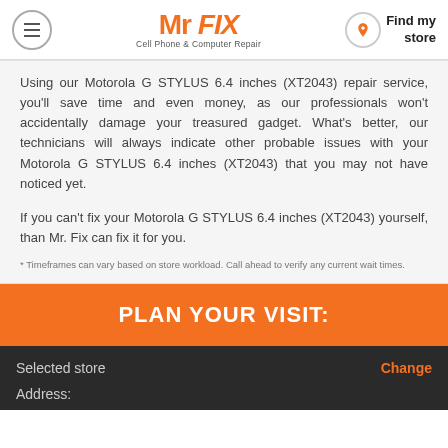Mr FIX Cell Phone & Computer Repair — Find my store
Using our Motorola G STYLUS 6.4 inches (XT2043) repair service, you'll save time and even money, as our professionals won't accidentally damage your treasured gadget. What's better, our technicians will always indicate other probable issues with your Motorola G STYLUS 6.4 inches (XT2043) that you may not have noticed yet.
If you can't fix your Motorola G STYLUS 6.4 inches (XT2043) yourself, than Mr. Fix can fix it for you.
* Timeframes can vary based on store workload. Call ahead to verify any current wait times.
PLAN YOUR VISIT:
Selected store
Change
Address: